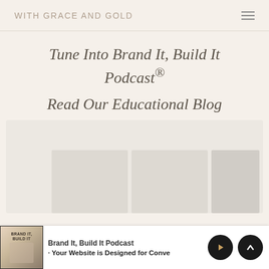WITH GRACE AND GOLD
Tune Into Brand It, Build It Podcast®
Read Our Educational Blog
[Figure (screenshot): A podcast/blog content grid showing thumbnail cards arranged in a horizontal row, partially visible, with muted beige/gray tones on a light background.]
Brand It, Build It Podcast
Your Website is Designed for Conve